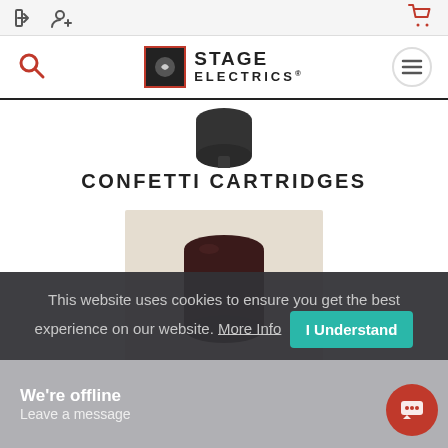Stage Electrics website navigation bar with login, register, search, menu, and cart icons
[Figure (photo): Partial view of a black cylindrical device (confetti cannon) from above, showing the top and nozzle against a white background]
CONFETTI CARTRIDGES
[Figure (photo): A dark maroon/black cylindrical confetti cartridge against a light beige background]
This website uses cookies to ensure you get the best experience on our website. More Info | I Understand
We're offline
Leave a message